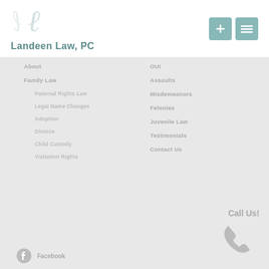[Figure (logo): Landeen Law PC logo with stylized L letter in teal/gray and law firm name below]
Landeen Law, PC
About
Family Law
Paternal Rights Law
Legal Name Changes
Adoption
Divorce
Child Custody
Visitation Rights
OUI
Assaults
Misdemeanors
Felonies
Juvenile Law
Testimonials
Contact Us
Call Us!
Facebook